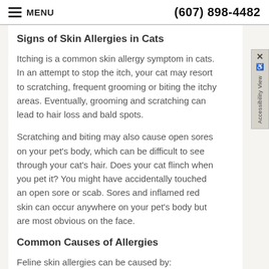MENU   (607) 898-4482
Signs of Skin Allergies in Cats
Itching is a common skin allergy symptom in cats. In an attempt to stop the itch, your cat may resort to scratching, frequent grooming or biting the itchy areas. Eventually, grooming and scratching can lead to hair loss and bald spots.
Scratching and biting may also cause open sores on your pet’s body, which can be difficult to see through your cat’s hair. Does your cat flinch when you pet it? You might have accidentally touched an open sore or scab. Sores and inflamed red skin can occur anywhere on your pet’s body but are most obvious on the face.
Common Causes of Allergies
Feline skin allergies can be caused by:
Fleas: Allergies to flea saliva cause crusty